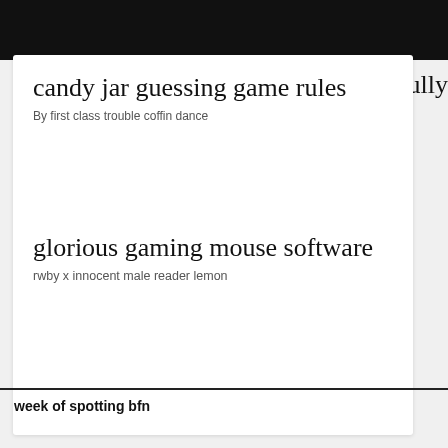candy jar guessing game rules
By first class trouble coffin dance
glorious gaming mouse software
rwby x innocent male reader lemon
week of spotting bfn